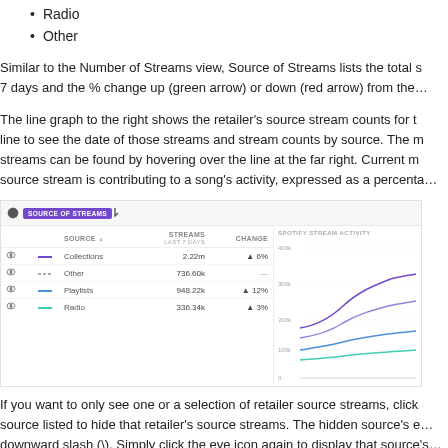Radio
Other
Similar to the Number of Streams view, Source of Streams lists the total s… 7 days and the % change up (green arrow) or down (red arrow) from the…
The line graph to the right shows the retailer's source stream counts for t… line to see the date of those streams and stream counts by source. The m… streams can be found by hovering over the line at the far right. Current m… source stream is contributing to a song's activity, expressed as a percenta…
[Figure (screenshot): Screenshot of the Source of Streams panel showing a table with columns SOURCE, STREAMS (last 7 days), and CHANGE, and rows for Collections, Other, Playlists, and Radio, along with a line chart labeled SPOTIFY STREAM ACTIVITY on the right.]
If you want to only see one or a selection of retailer source streams, click… source listed to hide that retailer's source streams. The hidden source's e… downward slash (\). Simply click the eye icon again to display that source's…